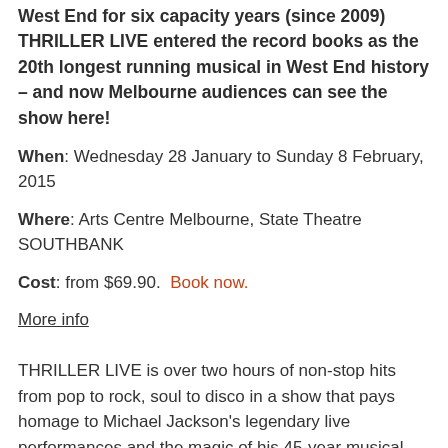West End for six capacity years (since 2009) THRILLER LIVE entered the record books as the 20th longest running musical in West End history – and now Melbourne audiences can see the show here!
When:  Wednesday 28 January to Sunday 8 February, 2015
Where:  Arts Centre Melbourne, State Theatre SOUTHBANK
Cost:  from $69.90.  Book now.
More info
THRILLER LIVE is over two hours of non-stop hits from pop to rock, soul to disco in a show that pays homage to Michael Jackson's legendary live performances and the magic of his 45-year musical history. THRILLER LIVE features stunning choreography and Michael's innovative dance moves executed with flair, precision